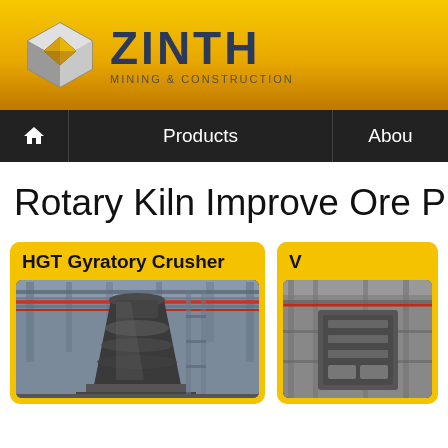[Figure (logo): ZINTH Mining & Construction logo with geometric diamond/cube icon and company name]
🏠  Products  Abou
Rotary Kiln Improve Ore Proces
[Figure (photo): HGT Gyratory Crusher product card with photo of large industrial crusher in a facility]
[Figure (photo): Second product card (partially visible) with industrial equipment photo]